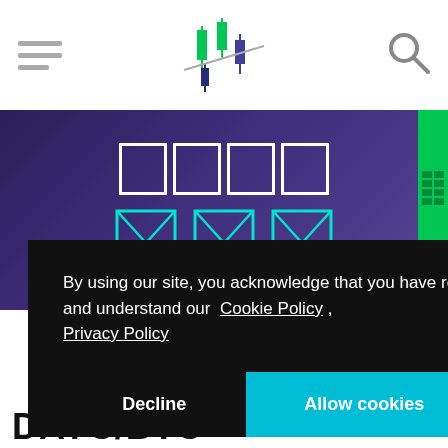[Figure (screenshot): Website header with hamburger menu on left, trading candlestick logo in center, search icon on right]
[Figure (screenshot): Hero banner with dark purple background showing placeholder character boxes in white and cyan/teal outlines]
By using our site, you acknowledge that you have read and understand our Cookie Policy , Privacy Policy
Decline
Allow cookies
DAYC/BTC